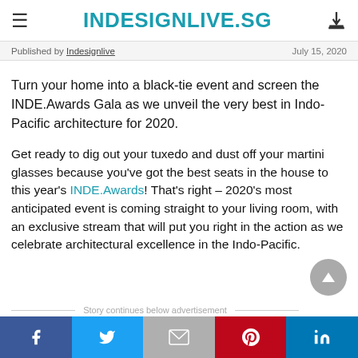INDESIGNLIVE.SG
Published by Indesignlive   July 15, 2020
Turn your home into a black-tie event and screen the INDE.Awards Gala as we unveil the very best in Indo-Pacific architecture for 2020.
Get ready to dig out your tuxedo and dust off your martini glasses because you've got the best seats in the house to this year's INDE.Awards! That's right – 2020's most anticipated event is coming straight to your living room, with an exclusive stream that will put you right in the action as we celebrate architectural excellence in the Indo-Pacific.
Story continues below advertisement